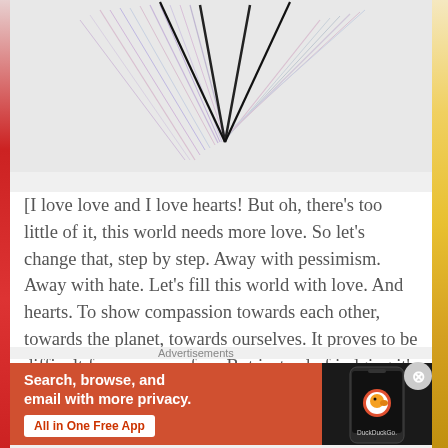[Figure (illustration): A hand-drawn heart shape with colored pencil hatching/shading on white paper, partially visible at top of page]
[I love love and I love hearts! But oh, there's too little of it, this world needs more love. So let's change that, step by step. Away with pessimism. Away with hate. Let's fill this world with love. And hearts. To show compassion towards each other, towards the planet, towards ourselves. It proves to be difficult for so many of us. But instead of judging it's more
Advertisements
[Figure (screenshot): DuckDuckGo advertisement banner with orange background. Text reads: Search, browse, and email with more privacy. All in One Free App. Shows a smartphone with DuckDuckGo logo.]